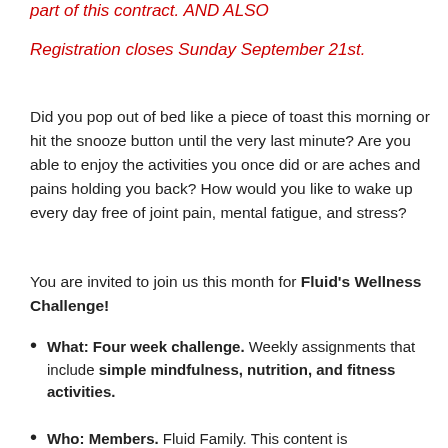part of this contract. AND ALSO
Registration closes Sunday September 21st.
Did you pop out of bed like a piece of toast this morning or hit the snooze button until the very last minute? Are you able to enjoy the activities you once did or are aches and pains holding you back? How would you like to wake up every day free of joint pain, mental fatigue, and stress?
You are invited to join us this month for Fluid's Wellness Challenge!
What: Four week challenge. Weekly assignments that include simple mindfulness, nutrition, and fitness activities.
Who: Members. Fluid Family. This content is